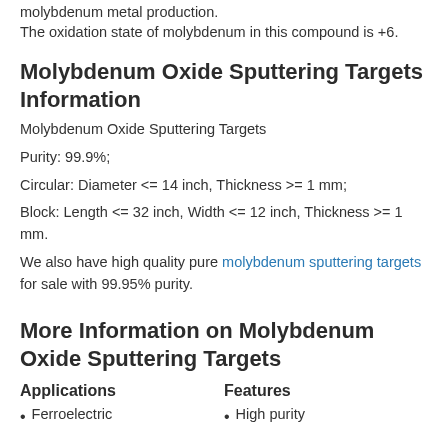molybdenum metal production.
The oxidation state of molybdenum in this compound is +6.
Molybdenum Oxide Sputtering Targets Information
Molybdenum Oxide Sputtering Targets
Purity: 99.9%;
Circular: Diameter <= 14 inch, Thickness >= 1 mm;
Block: Length <= 32 inch, Width <= 12 inch, Thickness >= 1 mm.
We also have high quality pure molybdenum sputtering targets for sale with 99.95% purity.
More Information on Molybdenum Oxide Sputtering Targets
Applications
Features
Ferroelectric
High purity